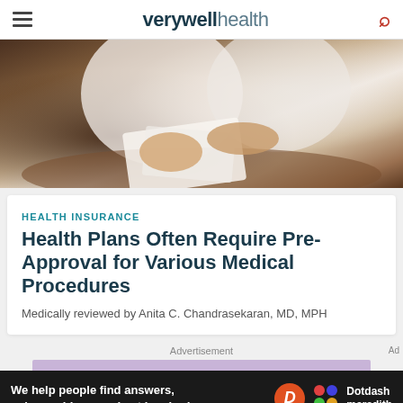verywell health
[Figure (photo): Close-up photo of a doctor in white coat reviewing papers at a desk, hands visible handling documents]
HEALTH INSURANCE
Health Plans Often Require Pre-Approval for Various Medical Procedures
Medically reviewed by Anita C. Chandrasekaran, MD, MPH
Advertisement
[Figure (other): Advertisement banner: We help people find answers, solve problems and get inspired. Dotdash Meredith logo.]